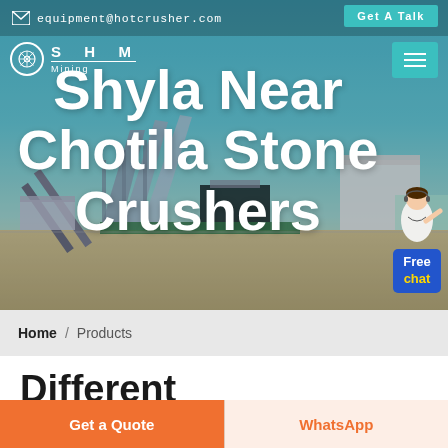equipment@hotcrusher.com   Get A Talk
[Figure (screenshot): Mining equipment / industrial stone crusher plant facility against a blue sky background. Large conveyor belts and processing structures visible. Overlay text: SHM Mining logo. Hero title: Shyla Near Chotila Stone Crushers. Chat widget with female avatar and blue chat bubble reading 'Free chat'.]
Shyla Near Chotila Stone Crushers
Home / Products
Different Machines To Meet All
Get a Quote   WhatsApp